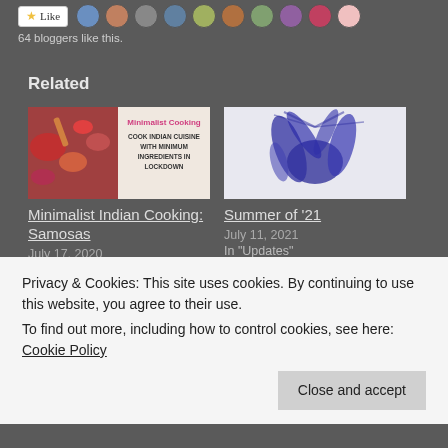[Figure (other): Like button with star icon and user avatar thumbnails row]
64 bloggers like this.
Related
[Figure (photo): Minimalist Cooking – Cook Indian Cuisine With Minimum Ingredients In Lockdown promotional image]
Minimalist Indian Cooking: Samosas
July 17, 2020
In "Food"
[Figure (photo): Abstract ink/paint handprint artwork image for Summer of '21]
Summer of '21
July 11, 2021
In "Updates"
Privacy & Cookies: This site uses cookies. By continuing to use this website, you agree to their use.
To find out more, including how to control cookies, see here: Cookie Policy
Close and accept